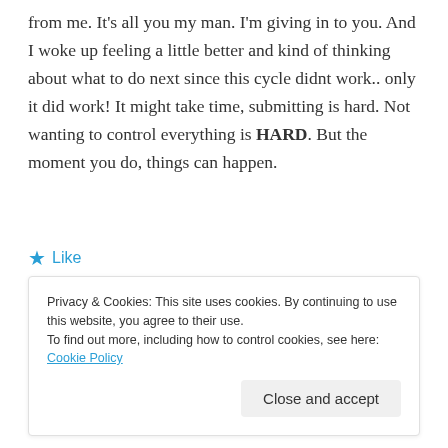from me. It's all you my man. I'm giving in to you. And I woke up feeling a little better and kind of thinking about what to do next since this cycle didnt work.. only it did work! It might take time, submitting is hard. Not wanting to control everything is HARD. But the moment you do, things can happen.
Like
REPORT THIS AD
Privacy & Cookies: This site uses cookies. By continuing to use this website, you agree to their use. To find out more, including how to control cookies, see here: Cookie Policy
Close and accept